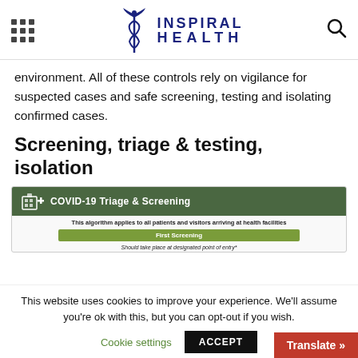INSPIRAL HEALTH
environment. All of these controls rely on vigilance for suspected cases and safe screening, testing and isolating confirmed cases.
Screening, triage & testing, isolation
[Figure (screenshot): COVID-19 Triage & Screening algorithm screenshot showing header with hospital icon, subtitle 'This algorithm applies to all patients and visitors arriving at health facilities', and 'First Screening' bar with note 'Should take place at designated point of entry*']
This website uses cookies to improve your experience. We'll assume you're ok with this, but you can opt-out if you wish.
Cookie settings   ACCEPT   Translate »